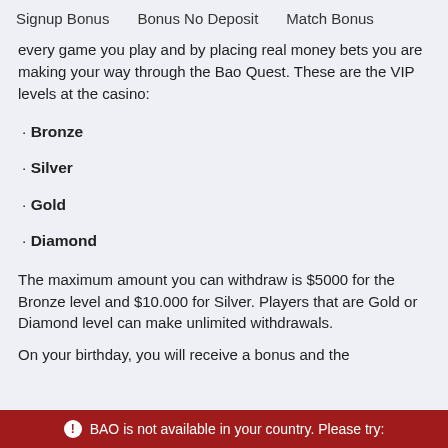Signup Bonus    Bonus No Deposit    Match Bonus
every game you play and by placing real money bets you are making your way through the Bao Quest. These are the VIP levels at the casino:
· Bronze
· Silver
· Gold
· Diamond
The maximum amount you can withdraw is $5000 for the Bronze level and $10.000 for Silver. Players that are Gold or Diamond level can make unlimited withdrawals.
On your birthday, you will receive a bonus and the
BAO is not available in your country. Please try: